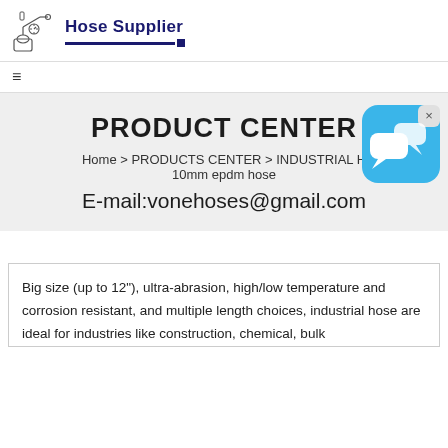Hose Supplier
PRODUCT CENTER
Home > PRODUCTS CENTER > INDUSTRIAL H > 10mm epdm hose
E-mail:vonehoses@gmail.com
[Figure (illustration): Chat bubble icon overlay on top right]
Big size (up to 12"), ultra-abrasion, high/low temperature and corrosion resistant, and multiple length choices, industrial hose are ideal for industries like construction, chemical, bulk